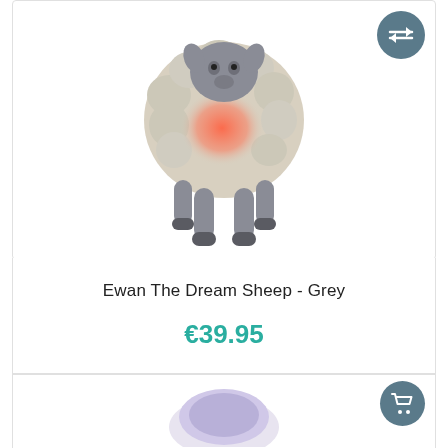[Figure (photo): Ewan The Dream Sheep stuffed animal toy in grey with red/pink glowing belly, grey legs, front-facing view on white background. A teal/grey circular compare button with double-arrow icon in top right corner.]
Ewan The Dream Sheep - Grey
€39.95
[Figure (photo): Bottom product card showing partial view of another product with a grey circular shopping cart button icon in top right corner.]